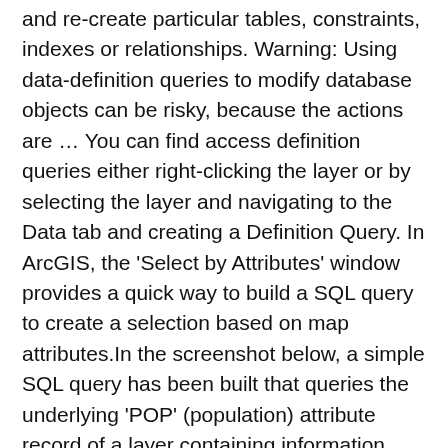and re-create particular tables, constraints, indexes or relationships. Warning: Using data-definition queries to modify database objects can be risky, because the actions are … You can find access definition queries either right-clicking the layer or by selecting the layer and navigating to the Data tab and creating a Definition Query. In ArcGIS, the 'Select by Attributes' window provides a quick way to build a SQL query to create a selection based on map attributes.In the screenshot below, a simple SQL query has been built that queries the underlying 'POP' (population) attribute record of a layer containing information about US cities (citiesx020 in the example). Sign in to your ArcGIS Online account. In the case of a Microsoft SQL Server database for example, the query would be written in Transact-SQL (T-SQL). Work with smart, data-driven styles and intuitive analysis tools. Next, create a Definition Query for the layer that defines a subset of